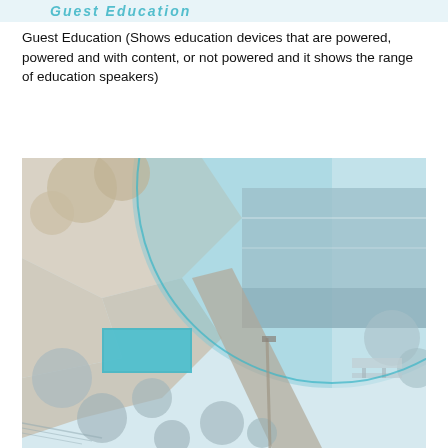[Figure (illustration): Top portion of a 3D architectural/venue rendering showing a stylized title or logo in teal/cyan text on a light background]
Guest Education (Shows education devices that are powered, powered and with content, or not powered and it shows the range of education speakers)
[Figure (illustration): Aerial/bird's-eye 3D rendering of an outdoor educational venue or park space with trees, pathways, a pool area, and a large teal semi-transparent circular overlay indicating a speaker range or coverage zone. Buildings and seating areas are visible.]